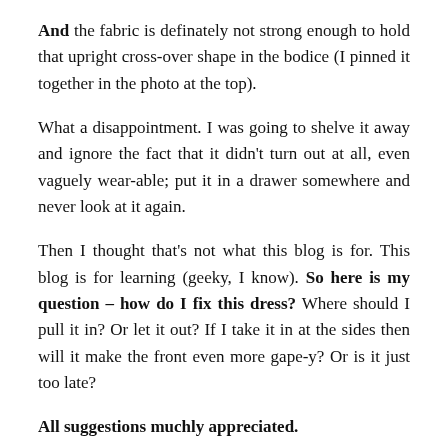And the fabric is definately not strong enough to hold that upright cross-over shape in the bodice (I pinned it together in the photo at the top).
What a disappointment. I was going to shelve it away and ignore the fact that it didn't turn out at all, even vaguely wear-able; put it in a drawer somewhere and never look at it again.
Then I thought that's not what this blog is for. This blog is for learning (geeky, I know). So here is my question – how do I fix this dress? Where should I pull it in? Or let it out? If I take it in at the sides then will it make the front even more gape-y? Or is it just too late?
All suggestions muchly appreciated.